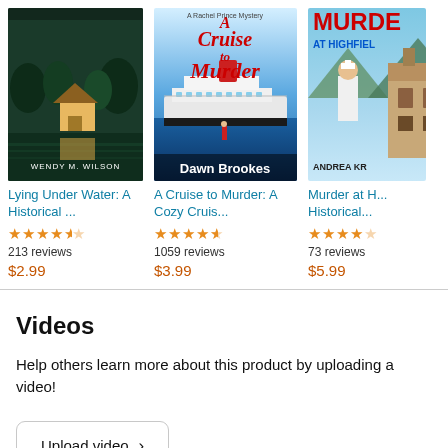[Figure (illustration): Book cover for 'Lying Under Water: A Historical...' by Wendy M. Wilson - dark green lake scene with small building reflected in water]
Lying Under Water: A Historical ...
4.5 stars, 213 reviews, $2.99
[Figure (illustration): Book cover for 'A Cruise to Murder: A Cozy Cruis...' by Dawn Brookes - cruise ship on blue water]
A Cruise to Murder: A Cozy Cruis...
4.5 stars, 1059 reviews, $3.99
[Figure (illustration): Book cover for 'Murder at H... Historical...' by Andrea Kr - partially cropped, nurse figure in front of building]
Murder at H... Historical...
4 stars, 73 reviews, $5.99
Videos
Help others learn more about this product by uploading a video!